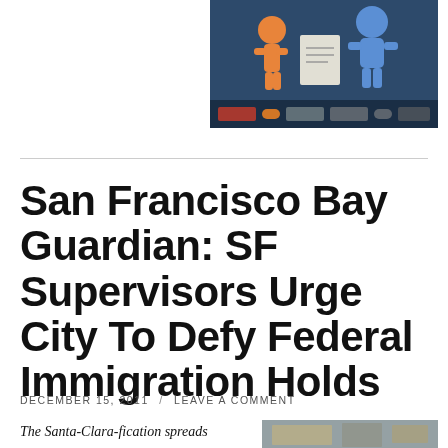[Figure (illustration): Colorful cartoon/illustration banner with orange and blue figures on a dark blue background, with logos/text at the bottom]
San Francisco Bay Guardian: SF Supervisors Urge City To Defy Federal Immigration Holds
DECEMBER 15, 2011 / LEAVE A COMMENT
The Santa-Clara-fication spreads
[Figure (photo): Partial photo visible at bottom right of page]